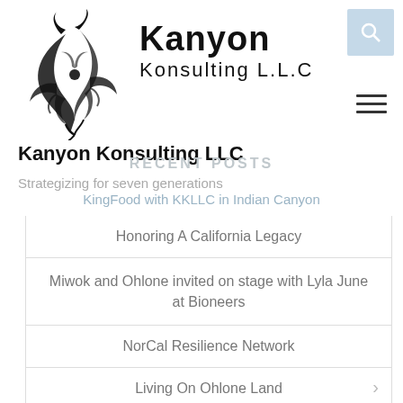[Figure (logo): Kanyon Konsulting LLC decorative floral/vine logo mark in black on white background]
Kanyon
Konsulting L.L.C
Kanyon Konsulting LLC
Strategizing for seven generations
RECENT POSTS
KingFood with KKLLC in Indian Canyon
Honoring A California Legacy
Miwok and Ohlone invited on stage with Lyla June at Bioneers
NorCal Resilience Network
Living On Ohlone Land